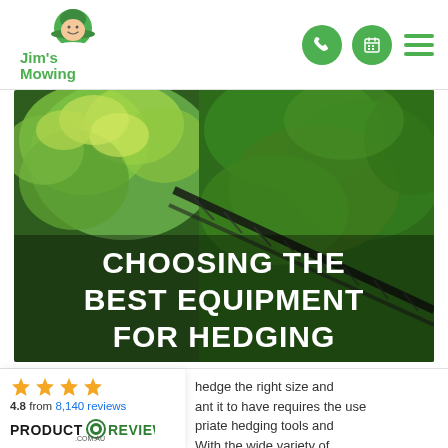Jim's Mowing — navigation header with logo and icons
[Figure (photo): Close-up photo of neatly trimmed green hedges with a hedge trimmer visible, overlaid with the text 'CHOOSING THE BEST EQUIPMENT FOR HEDGING']
CHOOSING THE BEST EQUIPMENT FOR HEDGING
[Figure (infographic): Product Review rating badge: 4.8 from 8,140 reviews with 4 gold stars, and ProductReview.com.au logo]
hedge the right size and ant it to have requires the use priate hedging tools and With the wide variety of